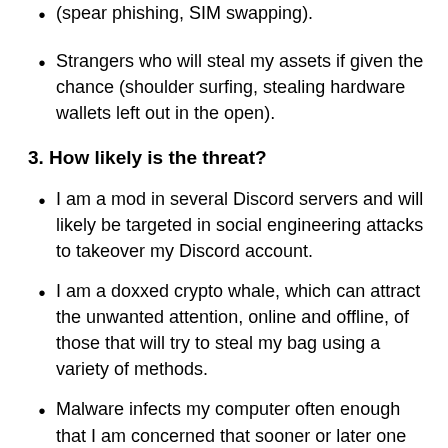…resourceful criminals specifically targeting me (spear phishing, SIM swapping).
Strangers who will steal my assets if given the chance (shoulder surfing, stealing hardware wallets left out in the open).
3. How likely is the threat?
I am a mod in several Discord servers and will likely be targeted in social engineering attacks to takeover my Discord account.
I am a doxxed crypto whale, which can attract the unwanted attention, online and offline, of those that will try to steal my bag using a variety of methods.
Malware infects my computer often enough that I am concerned that sooner or later one which